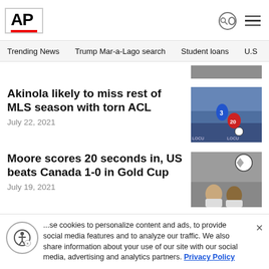AP
Trending News  Trump Mar-a-Lago search  Student loans  U.S.
Akinola likely to miss rest of MLS season with torn ACL
July 22, 2021
[Figure (photo): Two soccer players, one in blue (number 3) and one in red (number 20) competing for the ball on the field]
Moore scores 20 seconds in, US beats Canada 1-0 in Gold Cup
July 19, 2021
[Figure (photo): Soccer players in white jerseys with a soccer ball in the foreground]
...se cookies to personalize content and ads, to provide social media features and to analyze our traffic. We also share information about your use of our site with our social media, advertising and analytics partners. Privacy Policy